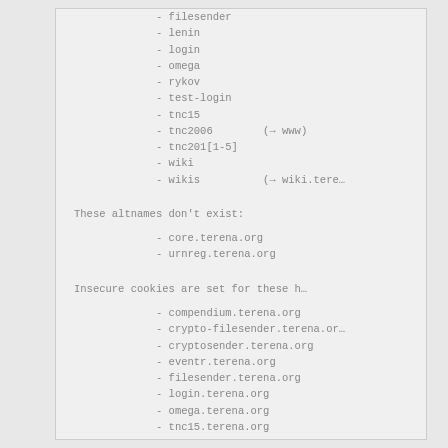- filesender
- lenin
- login
- omega
- rykov
- test-login
- tnc15
- tnc2006        (→ www)
- tnc201[1-5]
- wiki
- wikis          (→ wiki.terena...)
These altnames don't exist:
- core.terena.org
- urnreg.terena.org
Insecure cookies are set for these ho...
- compendium.terena.org
- crypto-filesender.terena.org
- cryptosender.terena.org
- eventr.terena.org
- filesender.terena.org
- login.terena.org
- omega.terena.org
- tnc15.terena.org
- tnc2011.terena.org